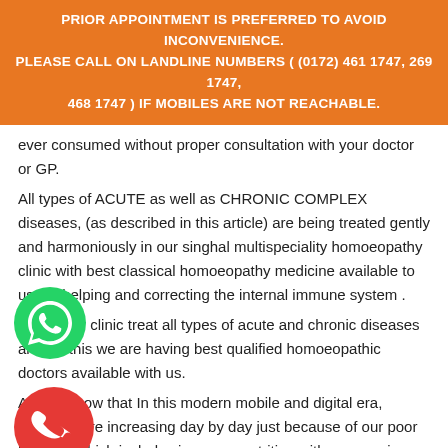PRIOR APPOINTMENT IS PREFERRED TO AVOID INCONVENIENCE. PLEASE CALL ON LANDLINE NUMBERS ( (0172) 461 1747, 269 1747, 468 1747 ) IF MOBILES ARE NOT REACHABLE.
ever consumed without proper consultation with your doctor or GP.
All types of ACUTE as well as CHRONIC COMPLEX diseases, (as described in this article) are being treated gently and harmoniously in our singhal multispeciality homoeopathy clinic with best classical homoeopathy medicine available to us, by helping and correcting the internal immune system .
We, in our clinic treat all types of acute and chronic diseases and for this we are having best qualified homoeopathic doctors available with us.
[Figure (illustration): WhatsApp green phone icon (circle with phone handset)]
As you know that In this modern mobile and digital era, diseases are increasing day by day just because of our poor life style which includes improper nutrition with no exercise and working in high level of pollution as well as radiation ; this give
[Figure (illustration): Red phone icon (circle with phone handset)]